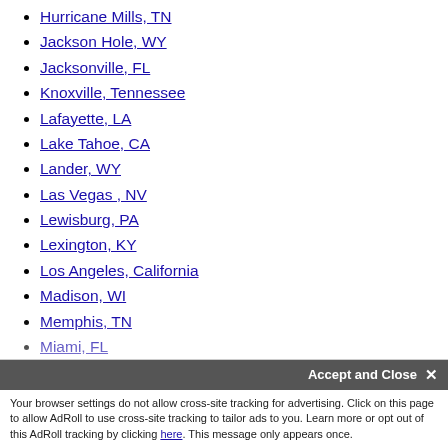Hurricane Mills, TN
Jackson Hole, WY
Jacksonville, FL
Knoxville, Tennessee
Lafayette, LA
Lake Tahoe, CA
Lander, WY
Las Vegas , NV
Lewisburg, PA
Lexington, KY
Los Angeles, California
Madison, WI
Memphis, TN
Miami, FL
Minneapolis, MN
Moab, UT
Mobile, Alabama
Montgomery, Alabama
Nashville, TN
New Haven, CT
New Johnsonville, TN
New York City, NY
Northwest Florida, FL
Your browser settings do not allow cross-site tracking for advertising. Click on this page to allow AdRoll to use cross-site tracking to tailor ads to you. Learn more or opt out of this AdRoll tracking by clicking here. This message only appears once.